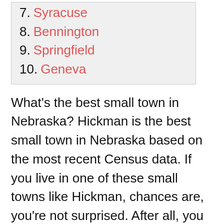7. Syracuse
8. Bennington
9. Springfield
10. Geneva
What's the best small town in Nebraska? Hickman is the best small town in Nebraska based on the most recent Census data. If you live in one of these small towns like Hickman, chances are, you're not surprised. After all, you know how great you have it.
But for the rest of you--keep reading and we'll get to just why these small towns made our list.